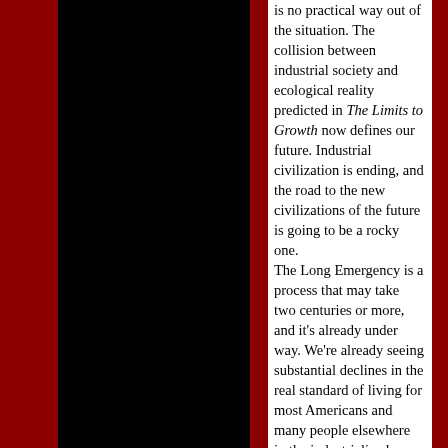is no practical way out of the situation. The collision between industrial society and ecological reality predicted in The Limits to Growth now defines our future. Industrial civilization is ending, and the road to the new civilizations of the future is going to be a rocky one.

The Long Emergency is a process that may take two centuries or more, and it's already under way. We're already seeing substantial declines in the real standard of living for most Americans and many people elsewhere in the industrialized world. We'll see quite a bit more in the years to come.